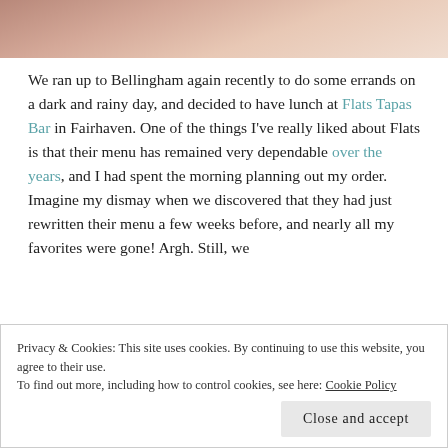[Figure (photo): Partial photo of a dish or bowl, warm pinkish-beige tones, bottom portion visible at top of page]
We ran up to Bellingham again recently to do some errands on a dark and rainy day, and decided to have lunch at Flats Tapas Bar in Fairhaven. One of the things I've really liked about Flats is that their menu has remained very dependable over the years, and I had spent the morning planning out my order. Imagine my dismay when we discovered that they had just rewritten their menu a few weeks before, and nearly all my favorites were gone! Argh. Still, we
Privacy & Cookies: This site uses cookies. By continuing to use this website, you agree to their use.
To find out more, including how to control cookies, see here: Cookie Policy
Close and accept